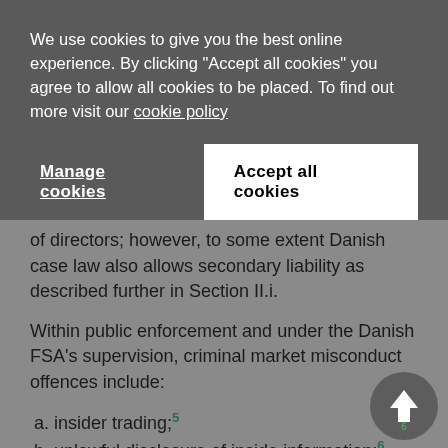We use cookies to give you the best online experience. By clicking "Accept all cookies" you agree to allow all cookies to be placed. To find out more visit our cookie policy
Manage cookies
Accept all cookies
of directors; however, to some extent Danish case law also allows secondary liability as described further in Section II.i.
Within public enforcement and under the Danish FSA's supervision, criminal market misconduct offences include:
a. insider trading;5
b. unlawful disclosure of inside information;6
c. market manipulation;7